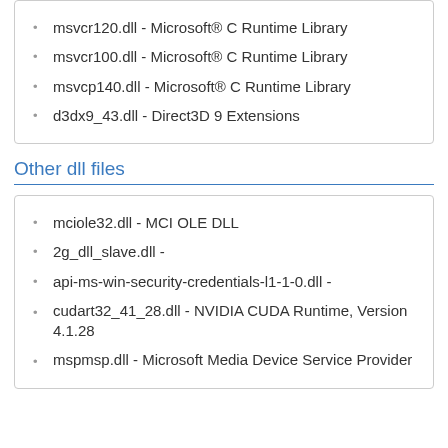msvcr120.dll - Microsoft® C Runtime Library
msvcr100.dll - Microsoft® C Runtime Library
msvcp140.dll - Microsoft® C Runtime Library
d3dx9_43.dll - Direct3D 9 Extensions
Other dll files
mciole32.dll - MCI OLE DLL
2g_dll_slave.dll -
api-ms-win-security-credentials-l1-1-0.dll -
cudart32_41_28.dll - NVIDIA CUDA Runtime, Version 4.1.28
mspmsp.dll - Microsoft Media Device Service Provider